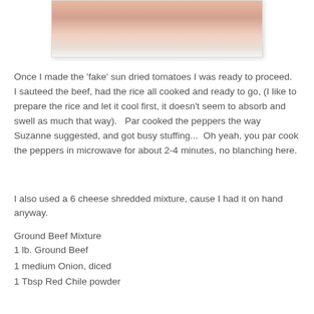[Figure (photo): Partial photo of stuffed peppers or sun dried tomatoes dish, cropped at top of page]
Once I made the 'fake' sun dried tomatoes I was ready to proceed.  I sauteed the beef, had the rice all cooked and ready to go, (I like to prepare the rice and let it cool first, it doesn't seem to absorb and swell as much that way).   Par cooked the peppers the way Suzanne suggested, and got busy stuffing...  Oh yeah, you par cook the peppers in microwave for about 2-4 minutes, no blanching here.
I also used a 6 cheese shredded mixture, cause I had it on hand anyway.
Ground Beef Mixture
1 lb. Ground Beef
1 medium Onion, diced
1 Tbsp Red Chile powder